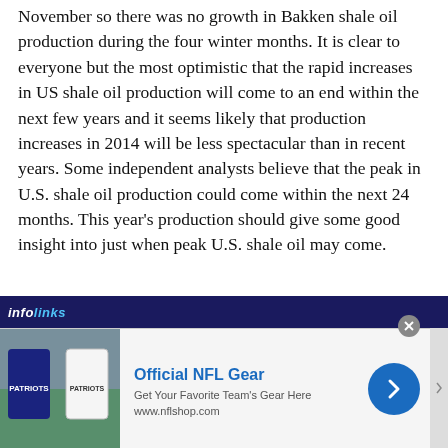November so there was no growth in Bakken shale oil production during the four winter months. It is clear to everyone but the most optimistic that the rapid increases in US shale oil production will come to an end within the next few years and it seems likely that production increases in 2014 will be less spectacular than in recent years. Some independent analysts believe that the peak in U.S. shale oil production could come within the next 24 months. This year's production should give some good insight into just when peak U.S. shale oil may come.
Last winter several of the major international oil companies announced that they could no longer afford the accelerated capital expenditures that resulted in some $3.5
[Figure (infographic): Infolinks advertisement overlay bar at bottom of article, with an NFL Gear advertisement showing jerseys, text 'Official NFL Gear', 'Get Your Favorite Team's Gear Here', 'www.nflshop.com', a blue circle arrow button, a close X button, and an expand arrow on the right.]